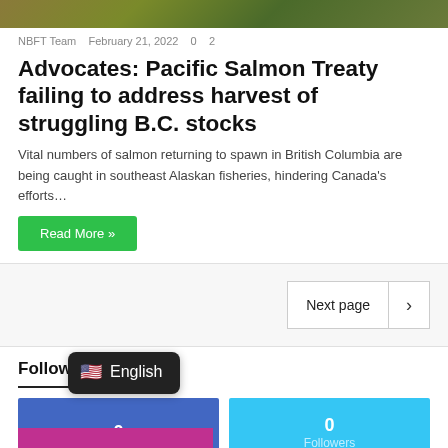[Figure (photo): Partial nature/salmon photo at top of page, cropped]
NBFT Team   February 21, 2022   0   2
Advocates: Pacific Salmon Treaty failing to address harvest of struggling B.C. stocks
Vital numbers of salmon returning to spawn in British Columbia are being caught in southeast Alaskan fisheries, hindering Canada's efforts…
Read More »
Next page
Follow Us
0
0
Followers
English